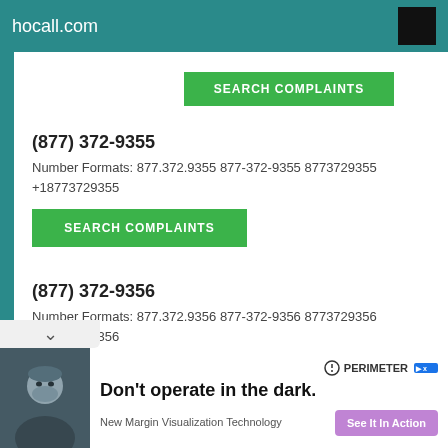hocall.com
SEARCH COMPLAINTS
(877) 372-9355
Number Formats: 877.372.9355 877-372-9355 8773729355 +18773729355
SEARCH COMPLAINTS
(877) 372-9356
Number Formats: 877.372.9356 877-372-9356 8773729356 +18773729356
SEARCH COMPLAINTS
Don't operate in the dark.
New Margin Visualization Technology